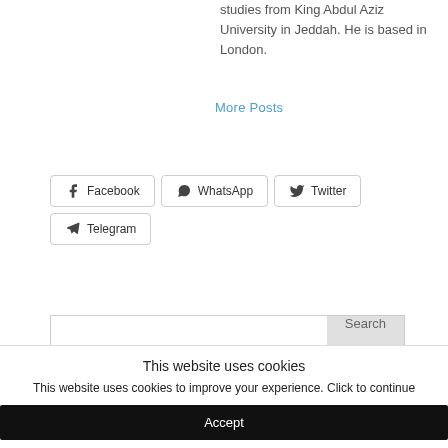studies from King Abdul Aziz University in Jeddah. He is based in London.
More Posts
[Figure (other): Social share buttons: Facebook, WhatsApp, Twitter, Telegram]
[Figure (other): Search bar with Search button]
This website uses cookies
This website uses cookies to improve your experience. Click to continue
Accept